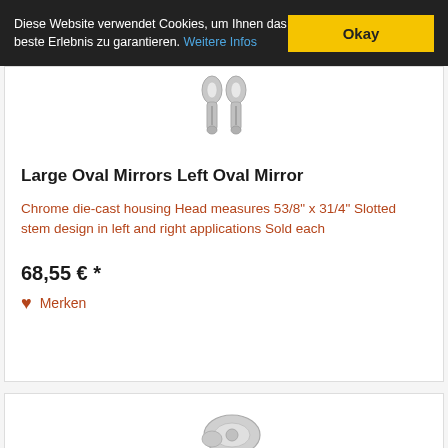Diese Website verwendet Cookies, um Ihnen das beste Erlebnis zu garantieren. Weitere Infos
Okay
[Figure (photo): Two chrome oval mirror stems viewed from above on white background]
Large Oval Mirrors Left Oval Mirror
Chrome die-cast housing Head measures 53/8" x 31/4" Slotted stem design in left and right applications Sold each
68,55 € *
Merken
[Figure (photo): Partial view of a chrome mirror component at the bottom of the page]